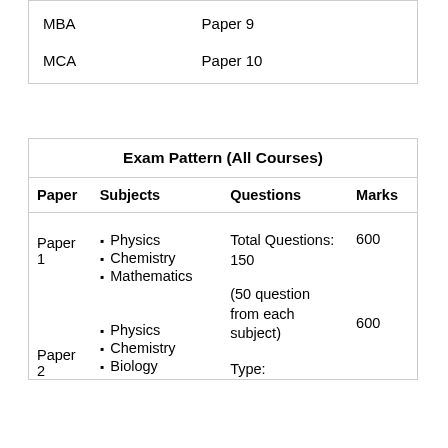| MBA | Paper 9 |
| MCA | Paper 10 |
| Paper | Subjects | Questions | Marks |
| --- | --- | --- | --- |
| Paper 1 | Physics
Chemistry
Mathematics | Total Questions: 150
(50 question from each subject) | 600 |
| Paper 2 | Physics
Chemistry
Biology | Type: | 600 |